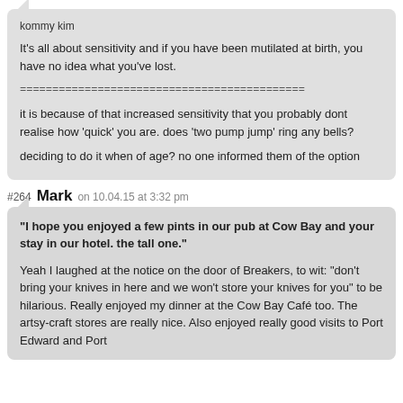kommy kim
It's all about sensitivity and if you have been mutilated at birth, you have no idea what you've lost.
============================================
it is because of that increased sensitivity that you probably dont realise how 'quick' you are. does 'two pump jump' ring any bells?
deciding to do it when of age? no one informed them of the option
#264 Mark on 10.04.15 at 3:32 pm
“I hope you enjoyed a few pints in our pub at Cow Bay and your stay in our hotel. the tall one.”
Yeah I laughed at the notice on the door of Breakers, to wit: “don't bring your knives in here and we won't store your knives for you” to be hilarious. Really enjoyed my dinner at the Cow Bay Café too. The artsy-craft stores are really nice. Also enjoyed really good visits to Port Edward and Port